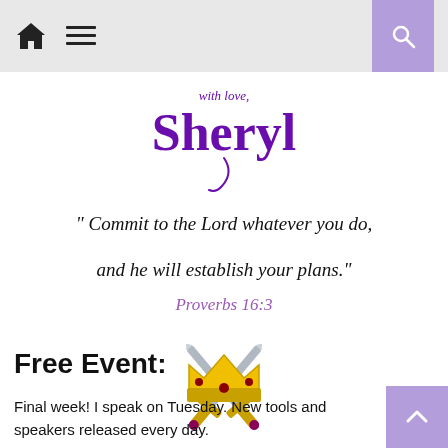Navigation header with home icon, menu icon, and search button
[Figure (illustration): Handwritten-style signature logo reading 'with love, Sheryl' in purple cursive script]
"Commit to the Lord whatever you do, and he will establish your plans."
Proverbs 16:3
[Figure (illustration): Two crossed swords with a gold crown in the center, decorative emblem]
Free Event:
Final week!  I speak on Tuesday.  New tools and speakers released every day.